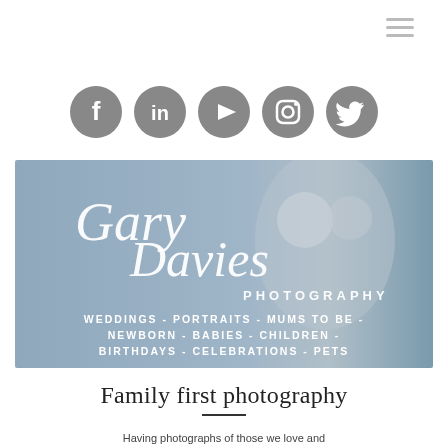[Figure (logo): Three horizontal lines hamburger menu icon in light gray, top right corner]
[Figure (infographic): Row of five circular social media icons: Facebook, LinkedIn, YouTube, Instagram, Twitter — all in medium gray with white logos]
[Figure (photo): Hero banner image with blue-gray blurred background showing a couple, with cursive white script text 'Gary Davies PHOTOGRAPHY' and below in white caps: WEDDINGS - PORTRAITS - MUMS TO BE - NEWBORN - BABIES - CHILDREN - BIRTHDAYS - CELEBRATIONS - PETS]
Family first photography
Having photographs of those we love and